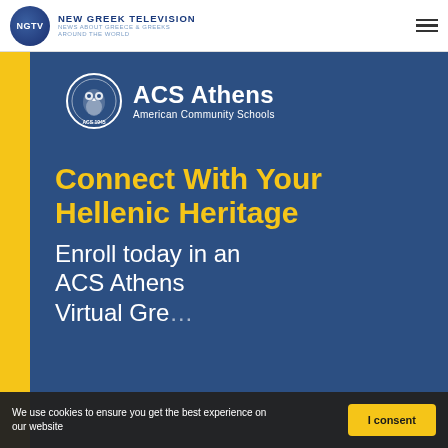NGTV NEW GREEK TELEVISION NEWS ABOUT GREECE & GREEKS AROUND THE WORLD
[Figure (illustration): ACS Athens American Community Schools advertisement banner. Blue background with yellow sidebar. Shows ACS Athens owl emblem logo, heading 'Connect With Your Hellenic Heritage' in yellow bold text, and 'Enroll today in an ACS Athens' in white text below.]
We use cookies to ensure you get the best experience on our website
I consent